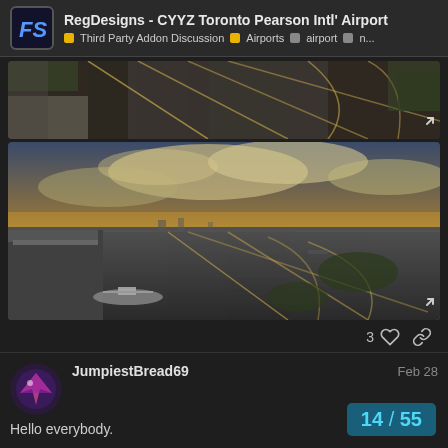RegDesigns - CYYZ Toronto Pearson Intl' Airport | Third Party Addon Discussion | Airports | airport | n...
[Figure (screenshot): Top-down aerial view of CYYZ Toronto Pearson International Airport taxiways and runways, dark background]
[Figure (screenshot): Ground-level view from airport terminal showing runways, taxiways, aircraft parked at gate, golden sunset sky with clouds]
3
JumpiestBread69
Feb 28
Hello everybody.
14 / 55